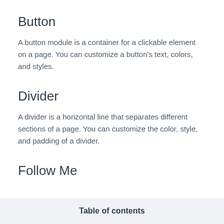Button
A button module is a container for a clickable element on a page. You can customize a button's text, colors, and styles.
Divider
A divider is a horizontal line that separates different sections of a page. You can customize the color, style, and padding of a divider.
Follow Me
Table of contents